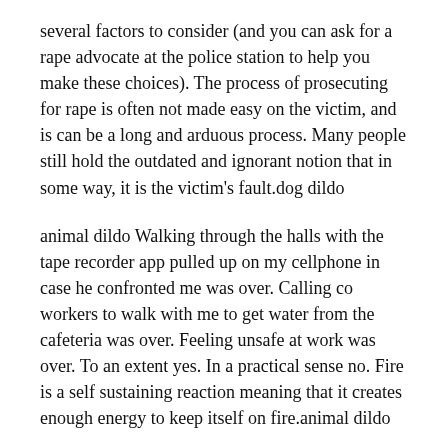several factors to consider (and you can ask for a rape advocate at the police station to help you make these choices). The process of prosecuting for rape is often not made easy on the victim, and is can be a long and arduous process. Many people still hold the outdated and ignorant notion that in some way, it is the victim's fault.dog dildo
animal dildo Walking through the halls with the tape recorder app pulled up on my cellphone in case he confronted me was over. Calling co workers to walk with me to get water from the cafeteria was over. Feeling unsafe at work was over. To an extent yes. In a practical sense no. Fire is a self sustaining reaction meaning that it creates enough energy to keep itself on fire.animal dildo
sex toys The female host is taking the new neighbors around the room introducing them to everyone. She gets